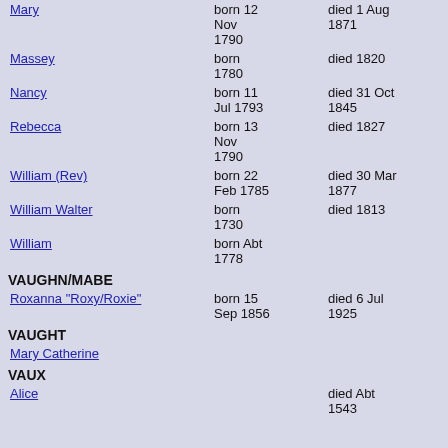Mary — born 12 Nov 1790 — died 1 Aug 1871
Massey — born 1780 — died 1820
Nancy — born 11 Jul 1793 — died 31 Oct 1845
Rebecca — born 13 Nov 1790 — died 1827
William (Rev) — born 22 Feb 1785 — died 30 Mar 1877
William Walter — born 1730 — died 1813
William — born Abt 1778
VAUGHN/MABE
Roxanna "Roxy/Roxie" — born 15 Sep 1856 — died 6 Jul 1925
VAUGHT
Mary Catherine
VAUX
Alice — died Abt 1543